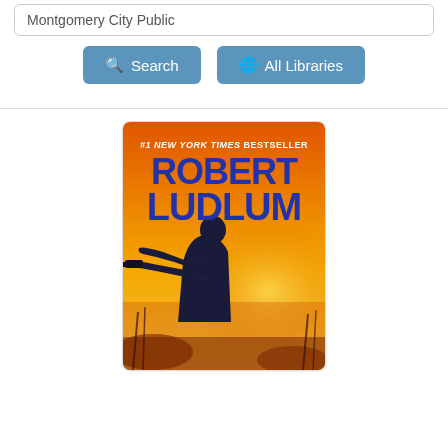Montgomery City Public
Search
All Libraries
[Figure (photo): Book cover for a Robert Ludlum novel. Orange and yellow background with a silhouette of a man in dark clothing holding a gun, aiming. Text at top reads '#1 NEW YORK TIMES BESTSELLER' and large bold blue text reads 'ROBERT LUDLUM'.]